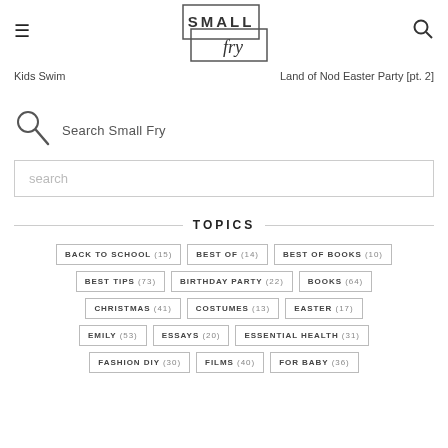[Figure (logo): Small Fry blog logo — 'SMALL' in block letters over 'fry' in cursive script, inside a hand-drawn rectangular border]
Kids Swim
Land of Nod Easter Party [pt. 2]
[Figure (illustration): Magnifying glass icon (search icon) drawn in outline style]
Search Small Fry
search
TOPICS
BACK TO SCHOOL (15)
BEST OF (14)
BEST OF BOOKS (10)
BEST TIPS (73)
BIRTHDAY PARTY (22)
BOOKS (64)
CHRISTMAS (41)
COSTUMES (13)
EASTER (17)
EMILY (53)
ESSAYS (20)
ESSENTIAL HEALTH (31)
FASHION DIY (30)
FILMS (40)
FOR BABY (36)